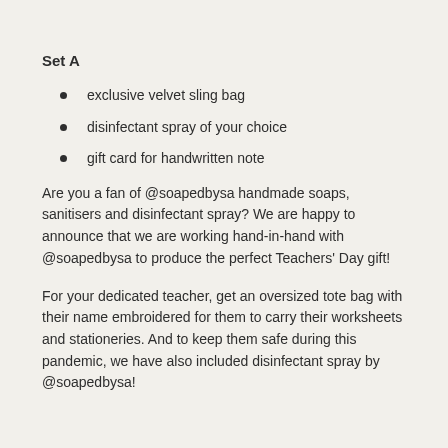Set A
exclusive velvet sling bag
disinfectant spray of your choice
gift card for handwritten note
Are you a fan of @soapedbysa handmade soaps, sanitisers and disinfectant spray? We are happy to announce that we are working hand-in-hand with @soapedbysa to produce the perfect Teachers' Day gift!
For your dedicated teacher, get an oversized tote bag with their name embroidered for them to carry their worksheets and stationeries. And to keep them safe during this pandemic, we have also included disinfectant spray by @soapedbysa!